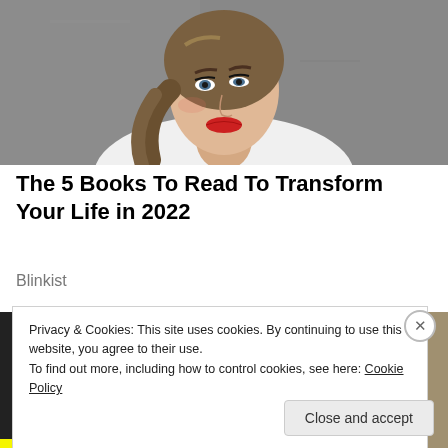[Figure (photo): Portrait photo of a young woman with dark blonde hair in a ponytail, red lipstick, wearing a white top, against a grey concrete background.]
The 5 Books To Read To Transform Your Life in 2022
Blinkist
[Figure (photo): Partially visible photo behind cookie banner]
Privacy & Cookies: This site uses cookies. By continuing to use this website, you agree to their use.
To find out more, including how to control cookies, see here: Cookie Policy
Close and accept